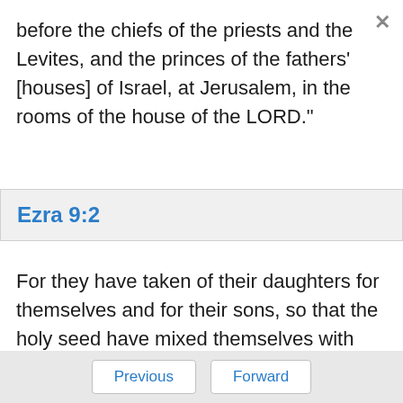before the chiefs of the priests and the Levites, and the princes of the fathers' [houses] of Israel, at Jerusalem, in the rooms of the house of the LORD."
Ezra 9:2
For they have taken of their daughters for themselves and for their sons, so that the holy seed have mixed themselves with the peoples of the lands. Yes, the hand of the princes and rulers has been chief in this trespass."
Previous  Forward